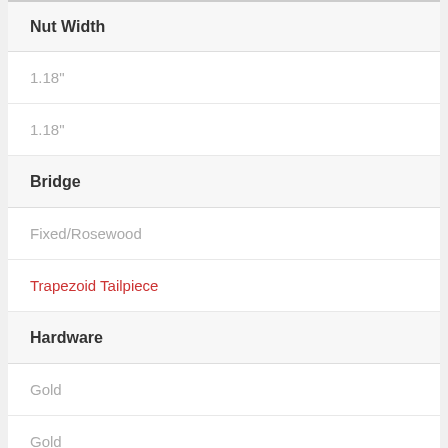| Nut Width |
| 1.18" |
| 1.18" |
| Bridge |
| Fixed/Rosewood |
| Trapezoid Tailpiece |
| Hardware |
| Gold |
| Gold |